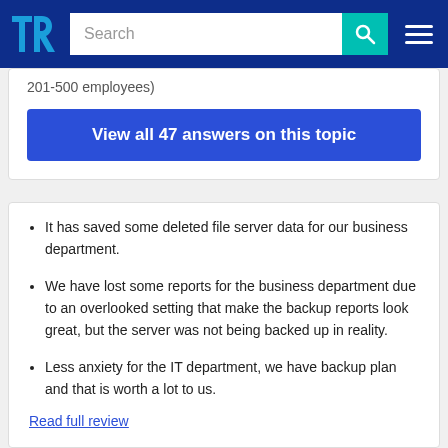TrustRadius navigation bar with search
201-500 employees)
View all 47 answers on this topic
It has saved some deleted file server data for our business department.
We have lost some reports for the business department due to an overlooked setting that make the backup reports look great, but the server was not being backed up in reality.
Less anxiety for the IT department, we have backup plan and that is worth a lot to us.
Read full review